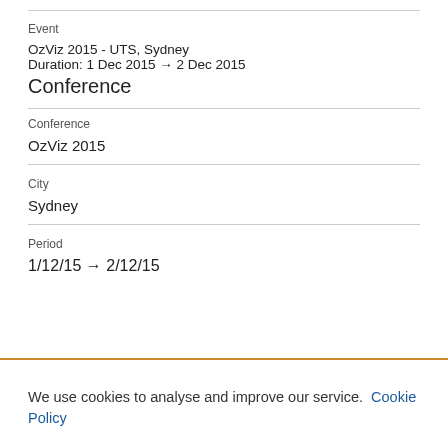Event
OzViz 2015 - UTS, Sydney
Duration: 1 Dec 2015 → 2 Dec 2015
Conference
Conference
OzViz 2015
City
Sydney
Period
1/12/15 → 2/12/15
We use cookies to analyse and improve our service. Cookie Policy